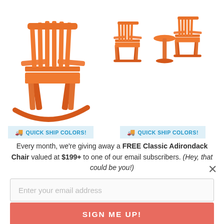[Figure (photo): Two orange Adirondack rocking chairs on white background (left side product image)]
[Figure (photo): Set of orange Adirondack chairs with side table on white background (right side product image)]
QUICK SHIP COLORS!
QUICK SHIP COLORS!
Every month, we're giving away a FREE Classic Adirondack Chair valued at $199+ to one of our email subscribers. (Hey, that could be you!)
Enter your email address
SIGN ME UP!
One (1) winner will be selected at random at the end of every month and contacted by email. U.S. entrants only.